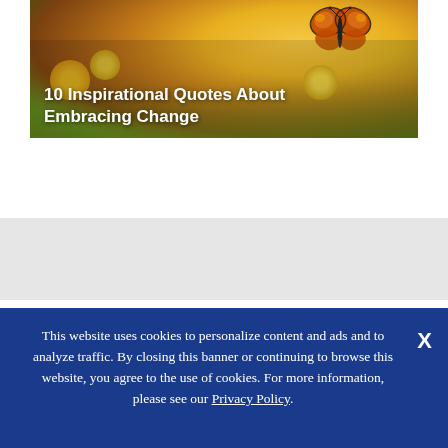[Figure (photo): Hero image with a butterfly on flowers (yellow and colorful blooms), with bold white title text overlay reading '10 Inspirational Quotes About Embracing Change']
10 Inspirational Quotes About Embracing Change
This website uses cookies to personalize content and ads and to analyze traffic. By closing this banner or continuing to browse this website, you agree to the use of cookies. For more information, please see our Privacy Policy.